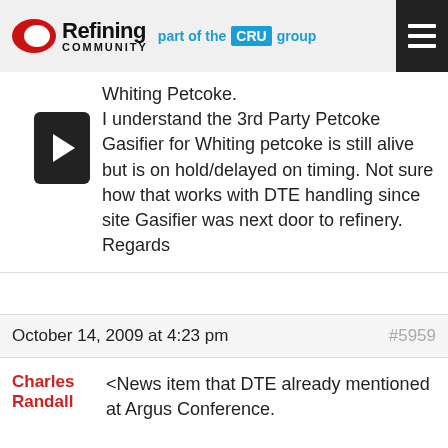Refining Community — part of the CRU group
Whiting Petcoke.
I understand the 3rd Party Petcoke Gasifier for Whiting petcoke is still alive but is on hold/delayed on timing. Not sure how that works with DTE handling since site Gasifier was next door to refinery.
Regards
October 14, 2009 at 4:23 pm  #5959
Charles Randall
<News item that DTE already mentioned at Argus Conference.